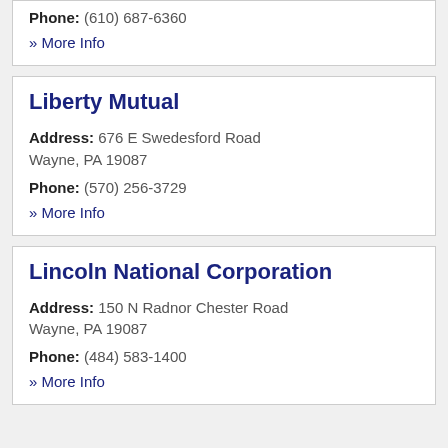Phone: (610) 687-6360
» More Info
Liberty Mutual
Address: 676 E Swedesford Road Wayne, PA 19087
Phone: (570) 256-3729
» More Info
Lincoln National Corporation
Address: 150 N Radnor Chester Road Wayne, PA 19087
Phone: (484) 583-1400
» More Info